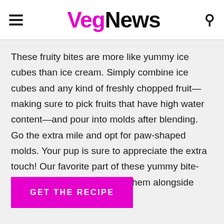VegNews
These fruity bites are more like yummy ice cubes than ice cream. Simply combine ice cubes and any kind of freshly chopped fruit—making sure to pick fruits that have high water content—and pour into molds after blending. Go the extra mile and opt for paw-shaped molds. Your pup is sure to appreciate the extra touch! Our favorite part of these yummy bite-sized treats? You can enjoy them alongside your pooch on a hot day.
GET THE RECIPE